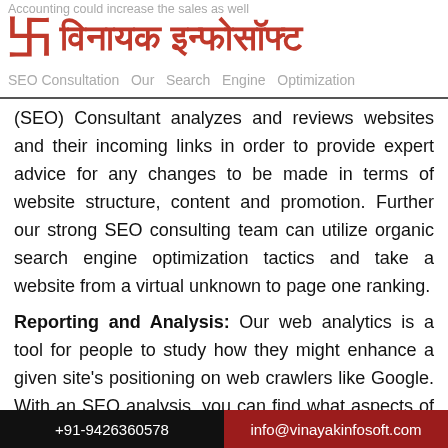Accounting could increase the sales as well
विनायक इन्फोसॉफ्ट
SEO Consultation  Our Search  Engine  Optimization
(SEO) Consultant analyzes and reviews websites and their incoming links in order to provide expert advice for any changes to be made in terms of website structure, content and promotion. Further our strong SEO consulting team can utilize organic search engine optimization tactics and take a website from a virtual unknown to page one ranking.
Reporting and Analysis: Our web analytics is a tool for people to study how they might enhance a given site's positioning on web crawlers like Google. With an SEO analysis, you can find what aspects of your SEO strategy are working and what your biggest obstacles are that are
+91-9426360578    info@vinayakinfosoft.com